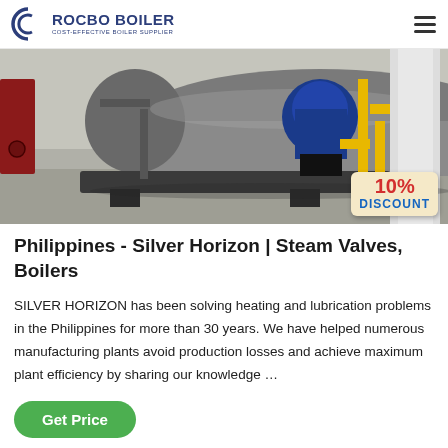ROCBO BOILER — COST-EFFECTIVE BOILER SUPPLIER
[Figure (photo): Industrial boiler equipment in a factory/plant setting showing large cylindrical boiler tank, pipes, and yellow gas lines. A 10% DISCOUNT badge is overlaid in the bottom-right corner.]
Philippines - Silver Horizon | Steam Valves, Boilers
SILVER HORIZON has been solving heating and lubrication problems in the Philippines for more than 30 years. We have helped numerous manufacturing plants avoid production losses and achieve maximum plant efficiency by sharing our knowledge …